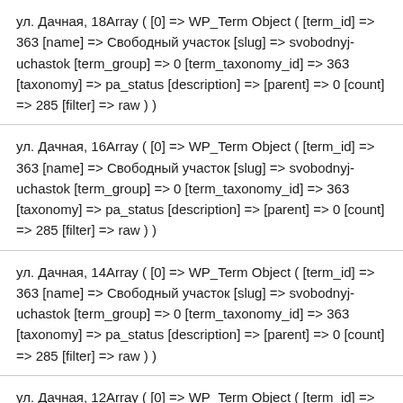ул. Дачная, 18Array ( [0] => WP_Term Object ( [term_id] => 363 [name] => Свободный участок [slug] => svobodnyj-uchastok [term_group] => 0 [term_taxonomy_id] => 363 [taxonomy] => pa_status [description] => [parent] => 0 [count] => 285 [filter] => raw ) )
ул. Дачная, 16Array ( [0] => WP_Term Object ( [term_id] => 363 [name] => Свободный участок [slug] => svobodnyj-uchastok [term_group] => 0 [term_taxonomy_id] => 363 [taxonomy] => pa_status [description] => [parent] => 0 [count] => 285 [filter] => raw ) )
ул. Дачная, 14Array ( [0] => WP_Term Object ( [term_id] => 363 [name] => Свободный участок [slug] => svobodnyj-uchastok [term_group] => 0 [term_taxonomy_id] => 363 [taxonomy] => pa_status [description] => [parent] => 0 [count] => 285 [filter] => raw ) )
ул. Дачная, 12Array ( [0] => WP_Term Object ( [term_id] => 363 [name] => Свободный участок [slug] => svobodnyj-uchastok [term_group] => 0 [term_taxonomy_id] => 363 [taxonomy] => pa_status [description] => [parent] => 0 [count] => 285 [filter] => raw ) )